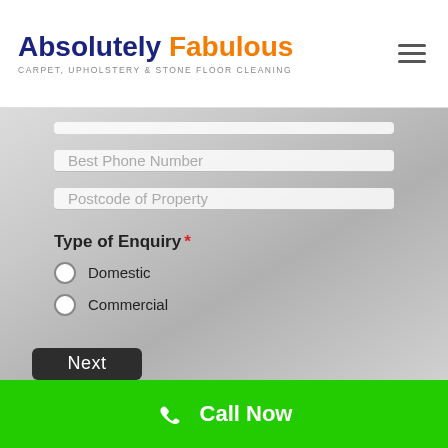[Figure (logo): Absolutely Fabulous logo with subtitle CARPET, UPHOLSTERY & STONE FLOOR CLEANING]
Best Phone Number
Postcode of Property
Type of Enquiry *
Domestic
Commercial
Next
Call Now